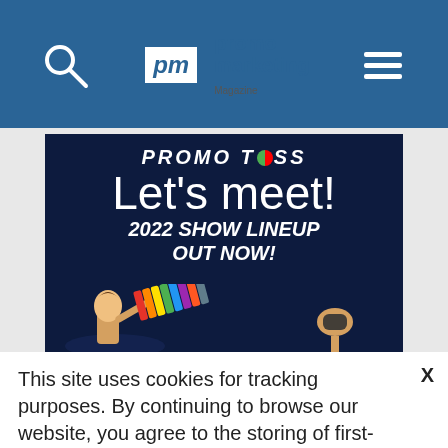[Figure (logo): Promo Marketing Magazine logo with search icon and hamburger menu on blue header bar]
[Figure (illustration): Promo Toss advertisement: dark navy background with text 'Let's meet! 2022 SHOW LINEUP OUT NOW!' and illustrated figures of people throwing/catching items]
This site uses cookies for tracking purposes. By continuing to browse our website, you agree to the storing of first- and third-party cookies on your device to enhance site navigation, analyze site usage, and assist in our marketing and
Accept and Close ✕
Your browser settings do not allow cross-site tracking for advertising. Click on this page to allow AdRoll to use cross-site tracking to tailor ads to you. Learn more or opt out of this AdRoll tracking by clicking here. This message only appears once.
Use | Close